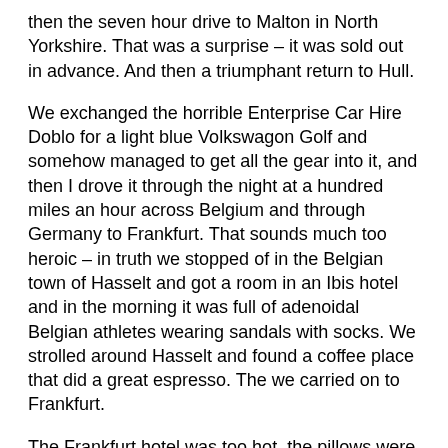then the seven hour drive to Malton in North Yorkshire. That was a surprise – it was sold out in advance. And then a triumphant return to Hull.
We exchanged the horrible Enterprise Car Hire Doblo for a light blue Volkswagon Golf and somehow managed to get all the gear into it, and then I drove it through the night at a hundred miles an hour across Belgium and through Germany to Frankfurt. That sounds much too heroic – in truth we stopped of in the Belgian town of Hasselt and got a room in an Ibis hotel and in the morning it was full of adenoidal Belgian athletes wearing sandals with socks. We strolled around Hasselt and found a coffee place that did a great espresso. The we carried on to Frankfurt.
The Frankfurt hotel was too hot, the pillows were large but completely flat and the TV didn't work. For the first time in my life I found myself wanting to throw a TV out of a hotel window but I didn't. By five o'clock in the morning I wanted to throw myself out of the hotel window. The only thing stopping me was that I was hungry because we hadn't eaten very well the day before and I didn't want to miss breakfast. The early morning sun was streaming in through thin, cheap hotel